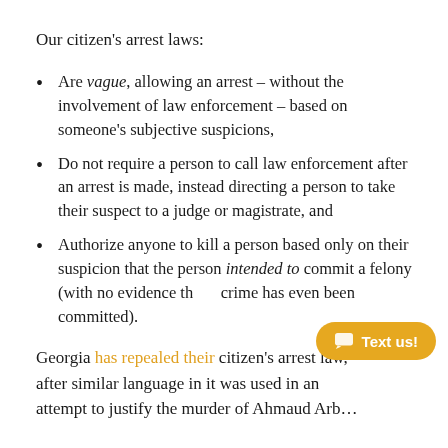Our citizen's arrest laws:
Are vague, allowing an arrest – without the involvement of law enforcement – based on someone's subjective suspicions,
Do not require a person to call law enforcement after an arrest is made, instead directing a person to take their suspect to a judge or magistrate, and
Authorize anyone to kill a person based only on their suspicion that the person intended to commit a felony (with no evidence that a crime has even been committed).
Georgia has repealed their citizen's arrest law, after similar language in it was used in an attempt to justify the murder of Ahmaud Arb…